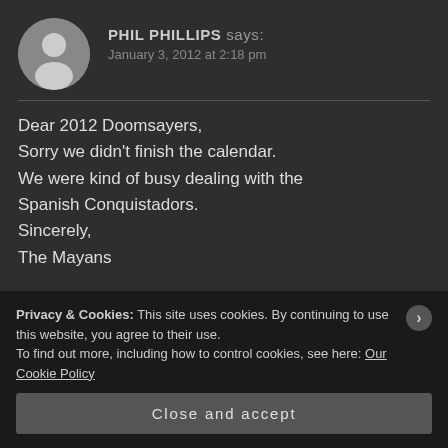[Figure (photo): Round avatar placeholder with silhouette of a person on grey background]
PHIL PHILLIPS says:
January 3, 2012 at 2:18 pm
Dear 2012 Doomsayers,
Sorry we didn't finish the calendar.
We were kind of busy dealing with the Spanish Conquistadors.
Sincerely,
The Mayans
★ Like
Privacy & Cookies: This site uses cookies. By continuing to use this website, you agree to their use.
To find out more, including how to control cookies, see here: Our Cookie Policy
Close and accept